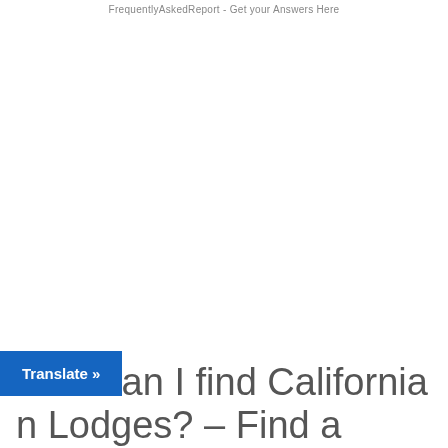FrequentlyAskedReport - Get your Answers Here
How can I find California n Lodges? – Find a
Translate »